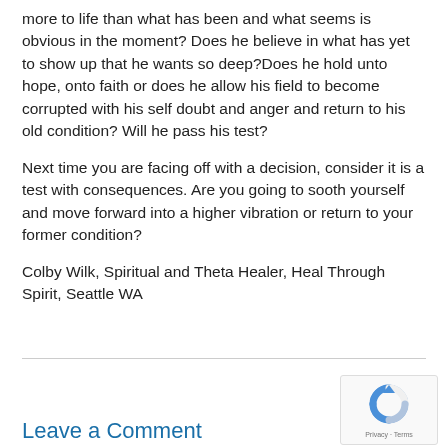more to life than what has been and what seems is obvious in the moment?  Does he believe in what has yet to show up that he wants so deep?Does he hold unto hope, onto faith or does he allow his field to become corrupted with his self doubt and anger and return to his old condition?  Will he pass his test?
Next time you are facing off with a decision, consider it is a test with consequences.  Are you going to sooth yourself and move forward into a higher vibration or return to your former condition?
Colby Wilk, Spiritual and Theta Healer, Heal Through Spirit, Seattle WA
Leave a Comment
[Figure (other): reCAPTCHA widget showing a circular arrow logo with 'Privacy - Terms' text below]